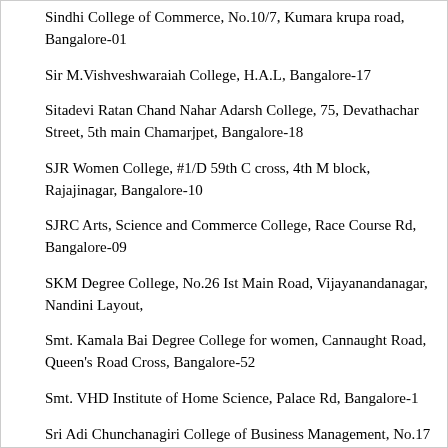Sindhi College of Commerce, No.10/7, Kumara krupa road, Bangalore-01
Sir M.Vishveshwaraiah College, H.A.L, Bangalore-17
Sitadevi Ratan Chand Nahar Adarsh College, 75, Devathachar Street, 5th main Chamarjpet, Bangalore-18
SJR Women College, #1/D 59th C cross, 4th M block, Rajajinagar, Bangalore-10
SJRC Arts, Science and Commerce College, Race Course Rd, Bangalore-09
SKM Degree College, No.26 Ist Main Road, Vijayanandanagar, Nandini Layout,
Smt. Kamala Bai Degree College for women, Cannaught Road, Queen's Road Cross, Bangalore-52
Smt. VHD Institute of Home Science, Palace Rd, Bangalore-1
Sri Adi Chunchanagiri College of Business Management, No.17 1st B Main, Sri Adichunchanagiri Shopping Complex, Vijayanagar, Bangalore -40